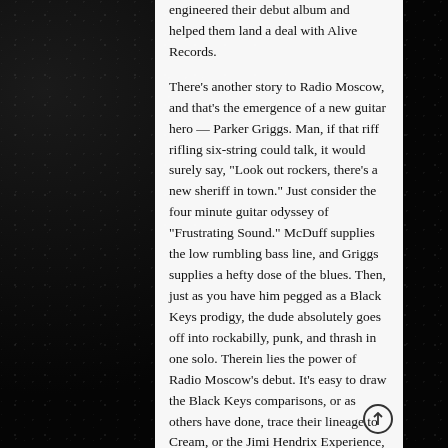engineered their debut album and helped them land a deal with Alive Records.

There's another story to Radio Moscow, and that's the emergence of a new guitar hero — Parker Griggs. Man, if that riff rifling six-string could talk, it would surely say, "Look out rockers, there's a new sheriff in town." Just consider the four minute guitar odyssey of "Frustrating Sound." McDuff supplies the low rumbling bass line, and Griggs supplies a hefty dose of the blues. Then, just as you have him pegged as a Black Keys prodigy, the dude absolutely goes off into rockabilly, punk, and thrash in one solo. Therein lies the power of Radio Moscow's debut. It's easy to draw the Black Keys comparisons, or as others have done, trace their lineage to Cream, or the Jimi Hendrix Experience, but the way Griggs handles that guitar transcends those